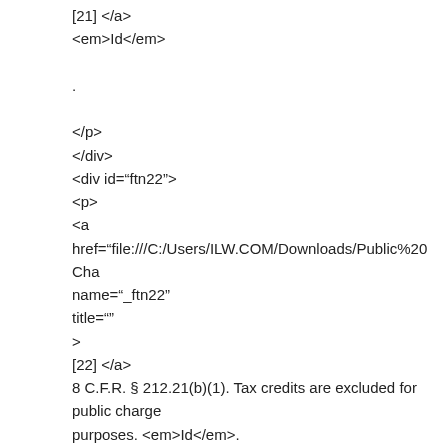[21] </a>
<em>Id</em>
.
</p>
</div>
<div id="ftn22">
<p>
<a
href="file:///C:/Users/ILW.COM/Downloads/Public%20Cha
name="_ftn22"
title=""
>
[22] </a>
8 C.F.R. § 212.21(b)(1). Tax credits are excluded for public charge purposes. <em>Id</em>.
</p>
</div>